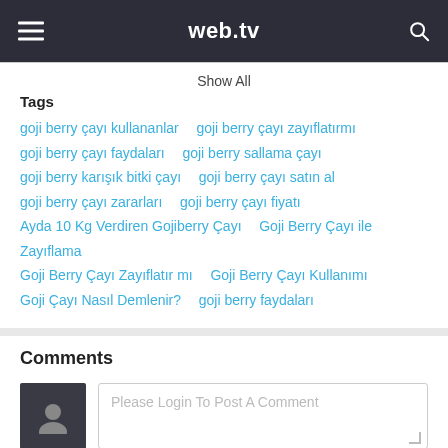web.tv
Show All
Tags
goji berry çayı kullananlar   goji berry çayı zayıflatırmı   goji berry çayı faydaları   goji berry sallama çayı   goji berry karışık bitki çayı   goji berry çayı satın al   goji berry çayı zararları   goji berry çayı fiyatı   Ayda 10 Kg Verdiren Gojiberry Çayı   Goji Berry Çayı ile Zayıflama   Goji Berry Çayı Zayıflatır mı   Goji Berry Çayı Kullanımı   Goji Çayı Nasıl Demlenir?   goji berry faydaları
Comments
Please Login To Post A Comment